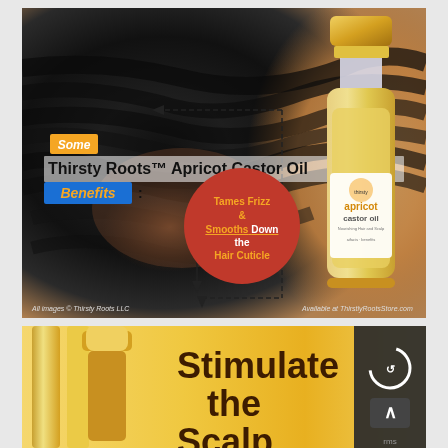[Figure (infographic): Advertisement for Thirsty Roots Apricot Castor Oil showing a close-up of natural hair with a product bottle on the right. Text reads 'Some Thirsty Roots™ Apricot Castor Oil Benefits:' with a red circle stating 'Tames Frizz & Smooths Down the Hair Cuticle'. Dashed arrow lines point from the circle to the hair. Footer reads 'All images © Thirsty Roots LLC' and 'Available at ThirstyRootsStore.com'.]
[Figure (infographic): Bottom partial advertisement showing a gold/yellow product bottle on the left and bold dark text reading 'Stimulate the Scalp' on a golden yellow background. A dark CAPTCHA/arrow overlay appears in the bottom right corner.]